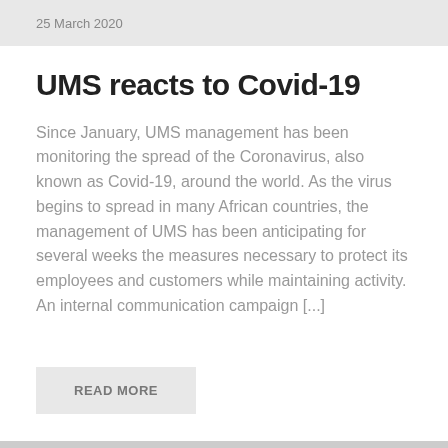25 March 2020
UMS reacts to Covid-19
Since January, UMS management has been monitoring the spread of the Coronavirus, also known as Covid-19, around the world. As the virus begins to spread in many African countries, the management of UMS has been anticipating for several weeks the measures necessary to protect its employees and customers while maintaining activity. An internal communication campaign [...]
READ MORE